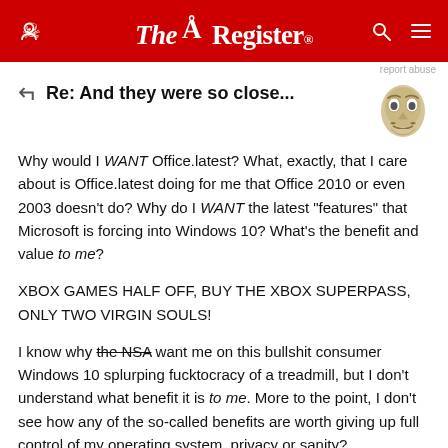The Register
Re: And they were so close...
Why would I WANT Office.latest? What, exactly, that I care about is Office.latest doing for me that Office 2010 or even 2003 doesn't do? Why do I WANT the latest "features" that Microsoft is forcing into Windows 10? What's the benefit and value to me?
XBOX GAMES HALF OFF, BUY THE XBOX SUPERPASS, ONLY TWO VIRGIN SOULS!
I know why the NSA want me on this bullshit consumer Windows 10 splurping fucktocracy of a treadmill, but I don't understand what benefit it is to me. More to the point, I don't see how any of the so-called benefits are worth giving up full control of my operating system, privacy or sanity?